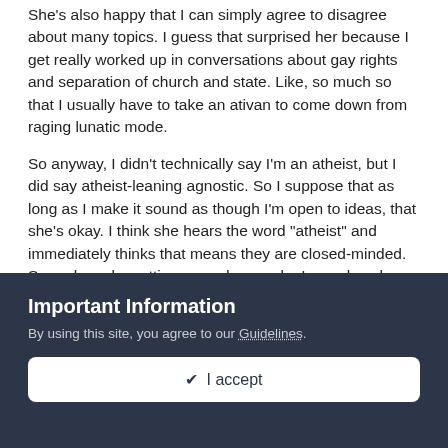She's also happy that I can simply agree to disagree about many topics.  I guess that surprised her because I get really worked up in conversations about gay rights and separation of church and state.  Like, so much so that I usually have to take an ativan to come down from raging lunatic mode.
So anyway, I didn't technically say I'm an atheist, but I did say atheist-leaning agnostic.  So I suppose that as long as I make it sound as though I'm open to ideas, that she's okay.  I think she hears the word "atheist" and immediately thinks that means they are closed-minded.  So perhaps by setting a good example, I can show her that's not necessarily true.
I haven't been asked straight-on this question by my dad, but between our conversations and the AHA mail I get (I totally unchecked the mail box and am still getting the 'give us money'
Important Information
By using this site, you agree to our Guidelines.
✔  I accept